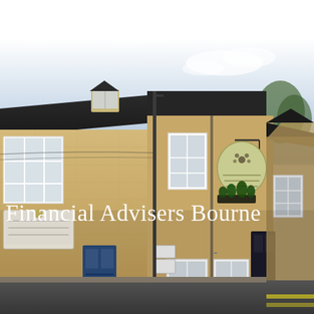[Figure (photo): Street-level photograph of a traditional Cotswold stone building with white sash windows, a dark slate roof, a blue door, and a hanging shop sign. A street lamp pole is visible in the centre. The building appears to house a financial advisers office. Text overlay reads 'Financial Advisers Bourne' in white serif font across the lower-middle portion of the image.]